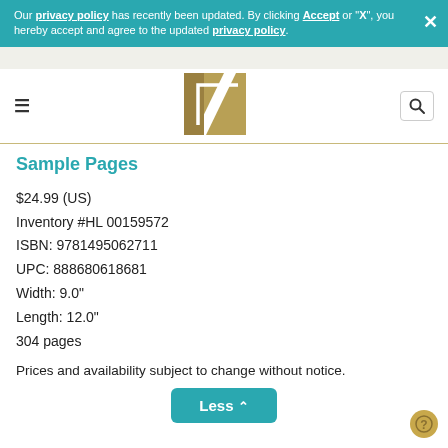Our privacy policy has recently been updated. By clicking Accept or "X", you hereby accept and agree to the updated privacy policy.
[Figure (logo): Hal Leonard logo - gold/tan geometric square with stylized L shape and diagonal line]
Sample Pages
$24.99 (US)
Inventory #HL 00159572
ISBN: 9781495062711
UPC: 888680618681
Width: 9.0"
Length: 12.0"
304 pages
Prices and availability subject to change without notice.